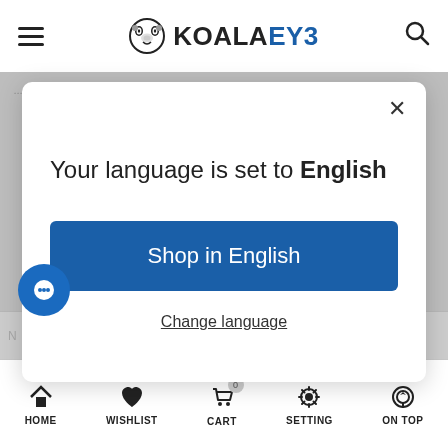KOALAEYE
...trading, looking great and enhance your vision at all...
Your language is set to English
Shop in English
Change language
N (*) | Correo electi | Su teléfono (
HOME | WISHLIST | CART | SETTING | ON TOP